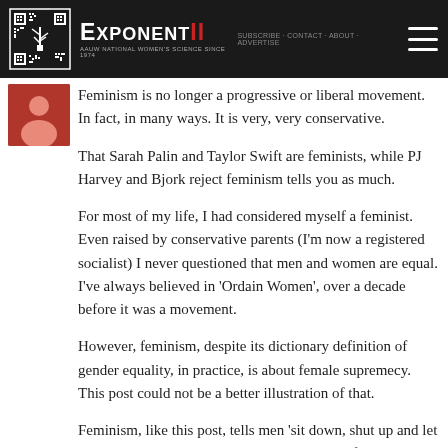Exponent II — AAUW / National Women's Science Since 1974
Feminism is no longer a progressive or liberal movement. In fact, in many ways. It is very, very conservative.
That Sarah Palin and Taylor Swift are feminists, while PJ Harvey and Bjork reject feminism tells you as much.
For most of my life, I had considered myself a feminist. Even raised by conservative parents (I'm now a registered socialist) I never questioned that men and women are equal. I've always believed in 'Ordain Women', over a decade before it was a movement.
However, feminism, despite its dictionary definition of gender equality, in practice, is about female supremecy. This post could not be a better illustration of that.
Feminism, like this post, tells men 'sit down, shut up and let us explain all your thoughts, motivations and feelings to you. If you respond in any way that I dislike, regardless of your intentions, you are a sexist.